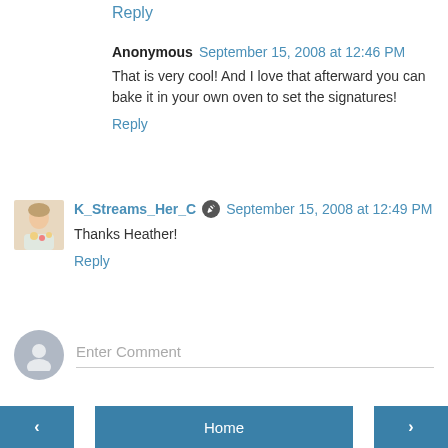Reply
Anonymous  September 15, 2008 at 12:46 PM
That is very cool! And I love that afterward you can bake it in your own oven to set the signatures!
Reply
K_Streams_Her_C  September 15, 2008 at 12:49 PM
Thanks Heather!
Reply
Enter Comment
< Home >